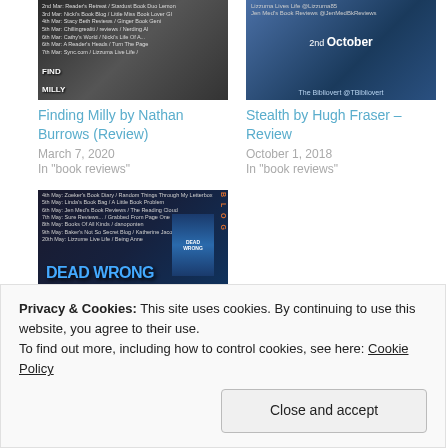[Figure (photo): Book blog tour image for Finding Milly by Nathan Burrows]
Finding Milly by Nathan Burrows (Review)
March 7, 2020
In "book reviews"
[Figure (photo): Blog tour image for Stealth by Hugh Fraser showing 2nd October date and The Bibliovert handle]
Stealth by Hugh Fraser – Review
October 1, 2018
In "book reviews"
[Figure (photo): Blog tour image for Dead Wrong by Noelle Holten with book cover]
Dead Wrong by Noelle Holten (Review)
May 20, 2020
In "book reviews"
Privacy & Cookies: This site uses cookies. By continuing to use this website, you agree to their use.
To find out more, including how to control cookies, see here: Cookie Policy
Close and accept